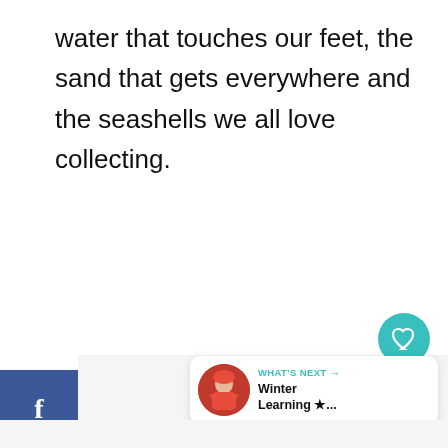water that touches our feet, the sand that gets everywhere and the seashells we all love collecting.
[Figure (screenshot): Social media sharing sidebar with Facebook (blue), Twitter (blue), and Pinterest (red) buttons on the left side]
[Figure (screenshot): Teal circular heart/save button and white circular share button on the right side]
[Figure (screenshot): What's Next card in bottom right showing a child in winter clothes with text 'WHAT'S NEXT → Winter Learning ★...']